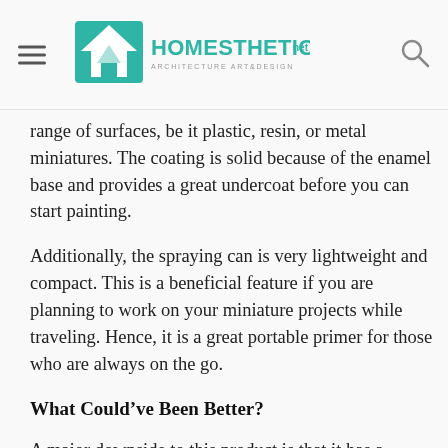Homesthetics – Architecture Art & Design
range of surfaces, be it plastic, resin, or metal miniatures. The coating is solid because of the enamel base and provides a great undercoat before you can start painting.
Additionally, the spraying can is very lightweight and compact. This is a beneficial feature if you are planning to work on your miniature projects while traveling. Hence, it is a great portable primer for those who are always on the go.
What Could've Been Better?
A major downside to this product is that it has a strong odor. If you are using it in the basement or in an area that is not well-ventilated, it might cause a major problem. We recommend using a mask while applying the primer coat to